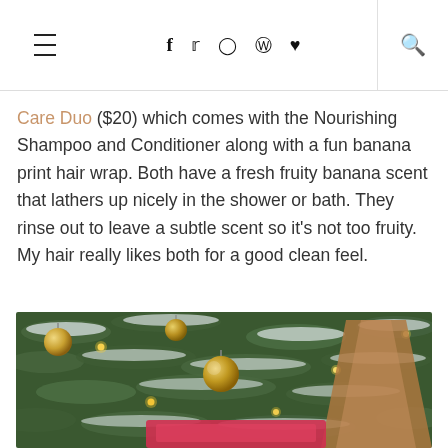≡  f  🐦  📷   Pinterest  ♥  🔍
Care Duo ($20) which comes with the Nourishing Shampoo and Conditioner along with a fun banana print hair wrap. Both have a fresh fruity banana scent that lathers up nicely in the shower or bath. They rinse out to leave a subtle scent so it's not too fruity. My hair really likes both for a good clean feel.
[Figure (photo): Christmas tree decorated with gold/silver ornaments, frosty snow-tipped branches, warm string lights, and what appears to be a hair product with brown ribbon wrap in front of the tree.]